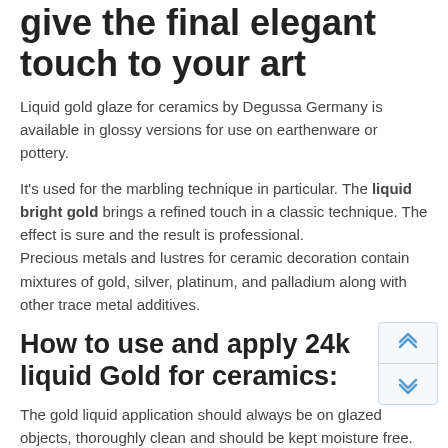give the final elegant touch to your art
Liquid gold glaze for ceramics by Degussa Germany is available in glossy versions for use on earthenware or pottery.
It's used for the marbling technique in particular. The liquid bright gold brings a refined touch in a classic technique. The effect is sure and the result is professional.
Precious metals and lustres for ceramic decoration contain mixtures of gold, silver, platinum, and palladium along with other trace metal additives.
How to use and apply 24k liquid Gold for ceramics:
The gold liquid application should always be on glazed objects, thoroughly clean and should be kept moisture free. Be sure to use brushes only for these materials, with a different one for gold or for platinum. Apply 24k liquid gold 1 gram on ceramics carefully with a brush or a pen. The best is to apply two layers. Be careful as gold